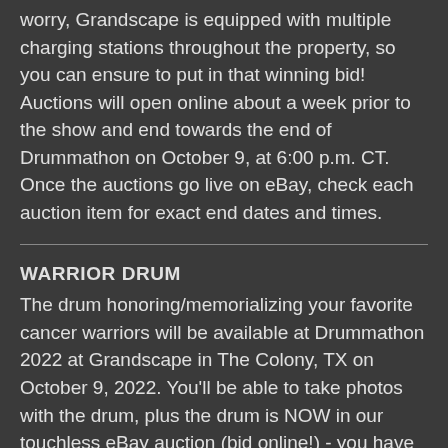worry, Grandscape is equipped with multiple charging stations throughout the property, so you can ensure to put in that winning bid! Auctions will open online about a week prior to the show and end towards the end of Drummathon on October 9, at 6:00 p.m. CT. Once the auctions go live on eBay, check each auction item for exact end dates and times.
WARRIOR DRUM
The drum honoring/memorializing your favorite cancer warriors will be available at Drummathon 2022 at Grandscape in The Colony, TX on October 9, 2022. You'll be able to take photos with the drum, plus the drum is NOW in our touchless eBay auction (bid online!) - you have the potential to win it and take it home! For every $10 you donate, you may specify one name to be placed on the drum. Deadline for donations for adding a name to the